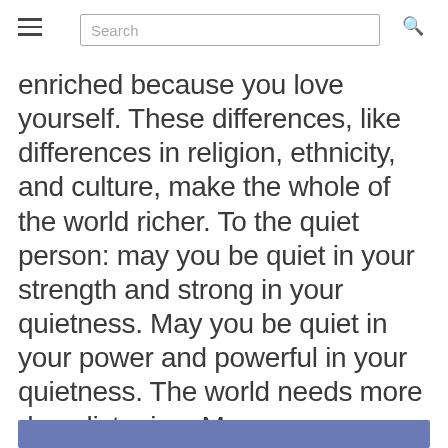Search
enriched because you love yourself. These differences, like differences in religion, ethnicity, and culture, make the whole of the world richer. To the quiet person: may you be quiet in your strength and strong in your quietness. May you be quiet in your power and powerful in your quietness. The world needs more deep listening. More space-making. Maybe that can become a part of your vocation in life?
[Figure (other): Blue horizontal bar at the bottom of the page]